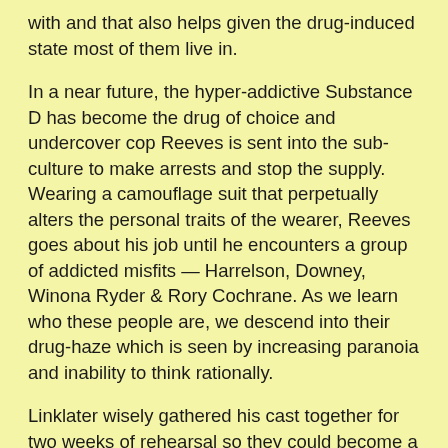with and that also helps given the drug-induced state most of them live in.
In a near future, the hyper-addictive Substance D has become the drug of choice and undercover cop Reeves is sent into the sub-culture to make arrests and stop the supply. Wearing a camouflage suit that perpetually alters the personal traits of the wearer, Reeves goes about his job until he encounters a group of addicted misfits — Harrelson, Downey, Winona Ryder & Rory Cochrane. As we learn who these people are, we descend into their drug-haze which is seen by increasing paranoia and inability to think rationally.
Linklater wisely gathered his cast together for two weeks of rehearsal so they could become a cohesive acting troupe before letting becoming the druggies. Better, he let them modify and add to his script. Downey, for example, converted his lines into run-on sentences which informed his quirky performance while Reeves annotated the novel the film is based on.